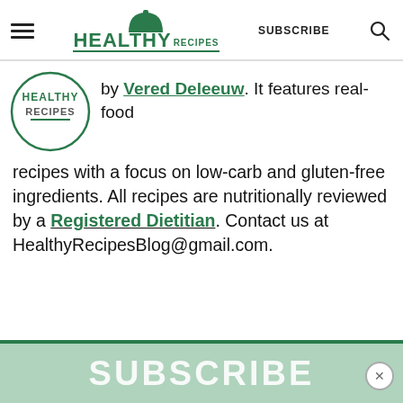HEALTHY RECIPES | SUBSCRIBE
[Figure (logo): Circular Healthy Recipes badge/logo with green circle border and text]
by Vered Deleeuw. It features real-food recipes with a focus on low-carb and gluten-free ingredients. All recipes are nutritionally reviewed by a Registered Dietitian. Contact us at HealthyRecipesBlog@gmail.com.
[Figure (other): Subscribe banner at bottom of page with teal/green background and white SUBSCRIBE text]